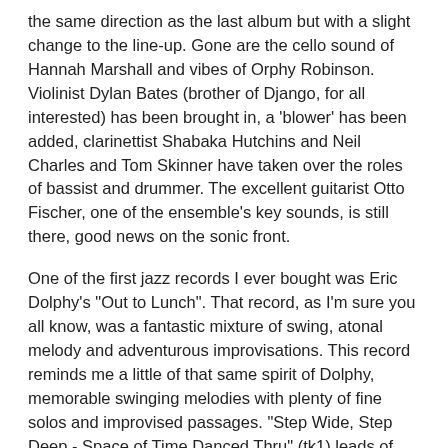the same direction as the last album but with a slight change to the line-up. Gone are the cello sound of Hannah Marshall and vibes of Orphy Robinson. Violinist Dylan Bates (brother of Django, for all interested) has been brought in, a 'blower' has been added, clarinettist Shabaka Hutchins and Neil Charles and Tom Skinner have taken over the roles of bassist and drummer. The excellent guitarist Otto Fischer, one of the ensemble's key sounds, is still there, good news on the sonic front.
One of the first jazz records I ever bought was Eric Dolphy's "Out to Lunch". That record, as I'm sure you all know, was a fantastic mixture of swing, atonal melody and adventurous improvisations. This record reminds me a little of that same spirit of Dolphy, memorable swinging melodies with plenty of fine solos and improvised passages. "Step Wide, Step Deep - Space of Time Danced Thru" (tk1) leads of the proceedings in real style, probably the most Dolphy-esque piece on the record. This is due, in part, to the new line-up's bass clarinet and violin front-line playing the melody. The other reference is probably the wonderful 'joyous hippo' type solo on this tune from Shabaka Hutchins' bass clarinet. The other